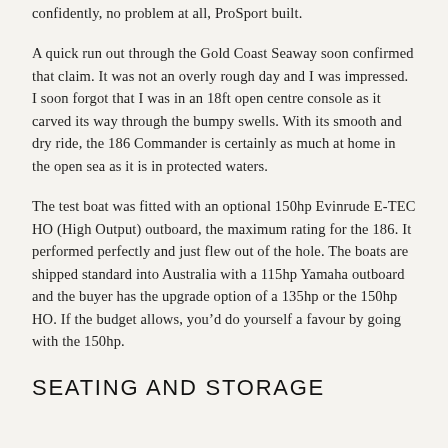confidently, no problem at all, ProSport built.
A quick run out through the Gold Coast Seaway soon confirmed that claim. It was not an overly rough day and I was impressed. I soon forgot that I was in an 18ft open centre console as it carved its way through the bumpy swells. With its smooth and dry ride, the 186 Commander is certainly as much at home in the open sea as it is in protected waters.
The test boat was fitted with an optional 150hp Evinrude E-TEC HO (High Output) outboard, the maximum rating for the 186. It performed perfectly and just flew out of the hole. The boats are shipped standard into Australia with a 115hp Yamaha outboard and the buyer has the upgrade option of a 135hp or the 150hp HO. If the budget allows, you’d do yourself a favour by going with the 150hp.
SEATING AND STORAGE